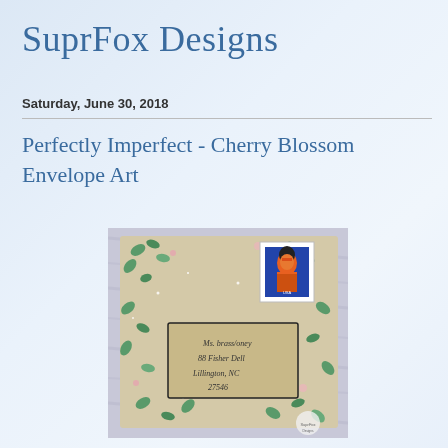SuprFox Designs
Saturday, June 30, 2018
Perfectly Imperfect - Cherry Blossom Envelope Art
[Figure (photo): A hand-decorated envelope with cherry blossom art, featuring teal/green leaf prints on a beige background with glitter, a handwritten address label, and a postage stamp showing a woman's portrait in orange and blue tones.]